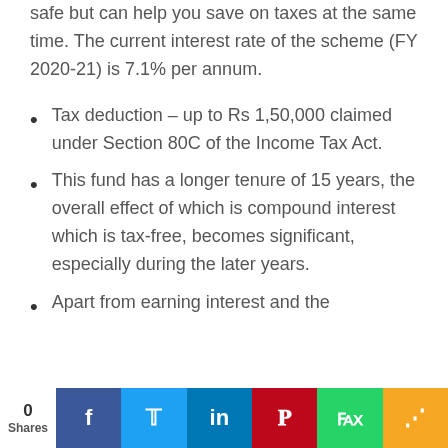safe but can help you save on taxes at the same time. The current interest rate of the scheme (FY 2020-21) is 7.1% per annum.
Tax deduction – up to Rs 1,50,000 claimed under Section 80C of the Income Tax Act.
This fund has a longer tenure of 15 years, the overall effect of which is compound interest which is tax-free, becomes significant, especially during the later years.
Apart from earning interest and the